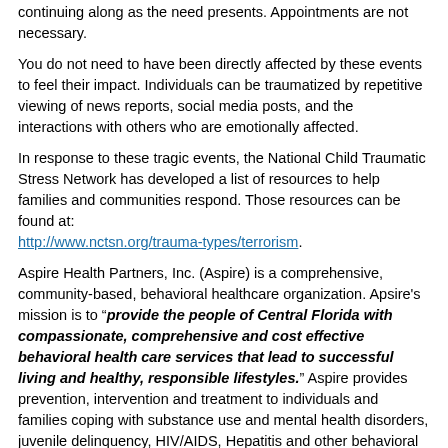continuing along as the need presents. Appointments are not necessary.
You do not need to have been directly affected by these events to feel their impact. Individuals can be traumatized by repetitive viewing of news reports, social media posts, and the interactions with others who are emotionally affected.
In response to these tragic events, the National Child Traumatic Stress Network has developed a list of resources to help families and communities respond. Those resources can be found at: http://www.nctsn.org/trauma-types/terrorism.
Aspire Health Partners, Inc. (Aspire) is a comprehensive, community-based, behavioral healthcare organization. Apsire's mission is to "provide the people of Central Florida with compassionate, comprehensive and cost effective behavioral health care services that lead to successful living and healthy, responsible lifestyles." Aspire provides prevention, intervention and treatment to individuals and families coping with substance use and mental health disorders, juvenile delinquency, HIV/AIDS, Hepatitis and other behavioral health issues.